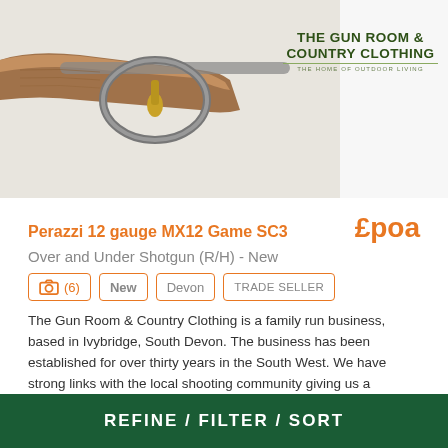[Figure (photo): Close-up photo of a Perazzi shotgun showing the action/trigger guard area with wood stock, gold trigger, and metal barrel — cropped top image]
[Figure (logo): The Gun Room & Country Clothing logo — text logo with green lettering on white background]
Perazzi 12 gauge MX12 Game SC3
£poa
Over and Under Shotgun (R/H) - New
(6)
New
Devon
TRADE SELLER
The Gun Room & Country Clothing is a family run business, based in Ivybridge, South Devon. The business has been established for over thirty years in the South West. We have strong links with the local shooting community giving us a comprehensive...
[Figure (photo): Bottom partial photo showing a yellowish-green gun barrel or receiver detail]
REFINE / FILTER / SORT